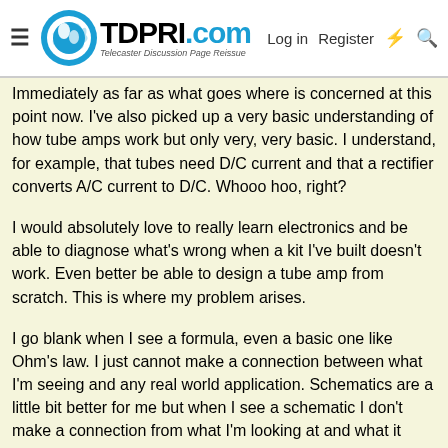TDPRI.com — Telecaster Discussion Page Reissue | Log in | Register
Immediately as far as what goes where is concerned at this point now. I've also picked up a very basic understanding of how tube amps work but only very, very basic. I understand, for example, that tubes need D/C current and that a rectifier converts A/C current to D/C. Whooo hoo, right?
I would absolutely love to really learn electronics and be able to diagnose what's wrong when a kit I've built doesn't work. Even better be able to design a tube amp from scratch. This is where my problem arises.
I go blank when I see a formula, even a basic one like Ohm's law. I just cannot make a connection between what I'm seeing and any real world application. Schematics are a little bit better for me but when I see a schematic I don't make a connection from what I'm looking at and what it represents. What I can do is look at a layout and make that connection.
Maybe I'm just venting or whining. I won't be surprised to see, if I get any responses to this, recommendations that I put on my big